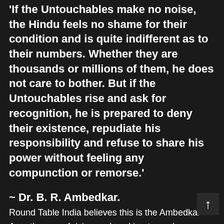'If the Untouchables make no noise, the Hindu feels no shame for their condition and is quite indifferent as to their numbers. Whether they are thousands or millions of them, he does not care to bother. But if the Untouchables rise and ask for recognition, he is prepared to deny their existence, repudiate his responsibility and refuse to share his power without feeling any compunction or remorse.'
~ Dr. B. R. Ambedkar.
Round Table India believes this is the Ambedkar Age, the age of rising and working towards reshaping society in the light of the Ambedkarite ideals of Liberty, Equality and Fraternity. As a news and information portal,